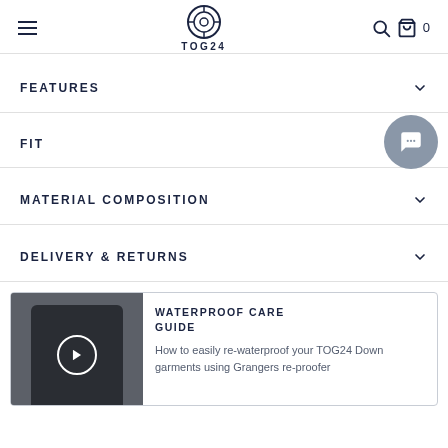TOG24
FEATURES
FIT
MATERIAL COMPOSITION
DELIVERY & RETURNS
[Figure (other): TOG24 waterproof care guide promotional card with a dark jacket image with play button overlay, and text: WATERPROOF CARE GUIDE - How to easily re-waterproof your TOG24 Down garments using Grangers re-proofer]
WATERPROOF CARE GUIDE
How to easily re-waterproof your TOG24 Down garments using Grangers re-proofer